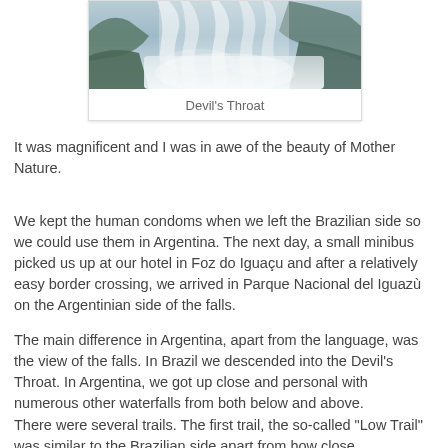[Figure (photo): Waterfall scene showing Devil's Throat at Iguazu Falls, misty large cascading waterfall]
Devil's Throat
It was magnificent and I was in awe of the beauty of Mother Nature.
We kept the human condoms when we left the Brazilian side so we could use them in Argentina. The next day, a small minibus picked us up at our hotel in Foz do Iguaçu and after a relatively easy border crossing, we arrived in Parque Nacional del Iguazù on the Argentinian side of the falls.
The main difference in Argentina, apart from the language, was the view of the falls. In Brazil we descended into the Devil's Throat. In Argentina, we got up close and personal with numerous other waterfalls from both below and above.
There were several trails. The first trail, the so-called “Low Trail” was similar to the Brazilian side apart from how close